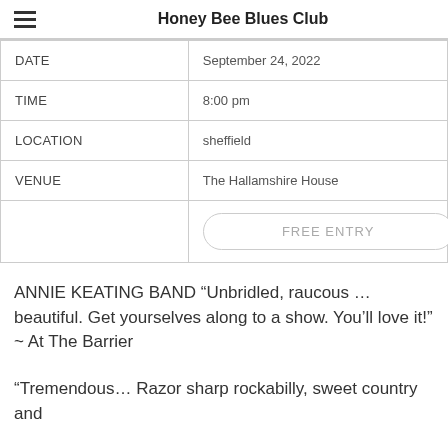Honey Bee Blues Club
| DATE | September 24, 2022 |
| TIME | 8:00 pm |
| LOCATION | sheffield |
| VENUE | The Hallamshire House |
|  | FREE ENTRY |
ANNIE KEATING BAND “Unbridled, raucous … beautiful. Get yourselves along to a show. You’ll love it!” ~ At The Barrier
“Tremendous… Razor sharp rockabilly, sweet country and